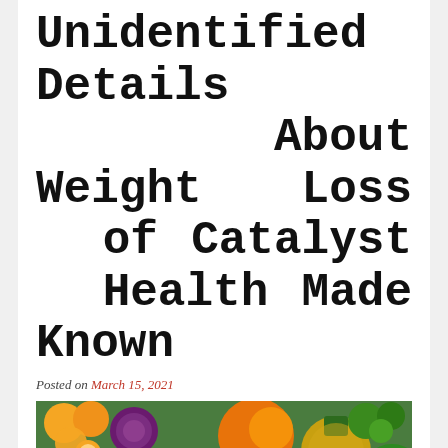Unidentified Details About Weight Loss of Catalyst Health Made Known
Posted on March 15, 2021
[Figure (photo): A colorful assortment of fresh fruits and vegetables including oranges, purple cabbage, eggplant, bananas, papaya, pineapple, red peppers, watermelon, grapes, apples, asparagus, mushrooms, and various other produce arranged in a vibrant display.]